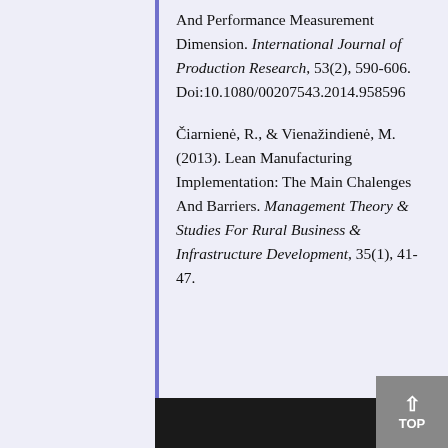And Performance Measurement Dimension. International Journal of Production Research, 53(2), 590-606. Doi:10.1080/00207543.2014.958596
Čiarnienė, R., & Vienažindienė, M. (2013). Lean Manufacturing Implementation: The Main Chalenges And Barriers. Management Theory & Studies For Rural Business & Infrastructure Development, 35(1), 41-47.